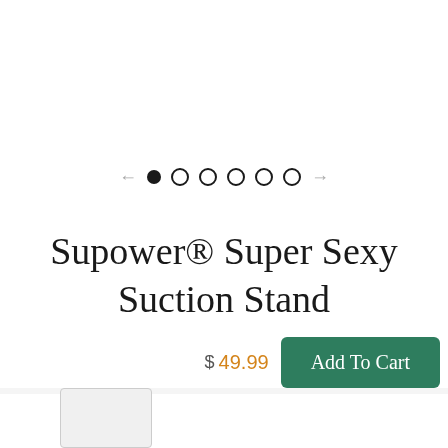[Figure (other): Image carousel navigation with one filled dot and five empty dots, flanked by left and right arrows]
Supower® Super Sexy Suction Stand
$99.99  $49.99
$  49.99  Add To Cart